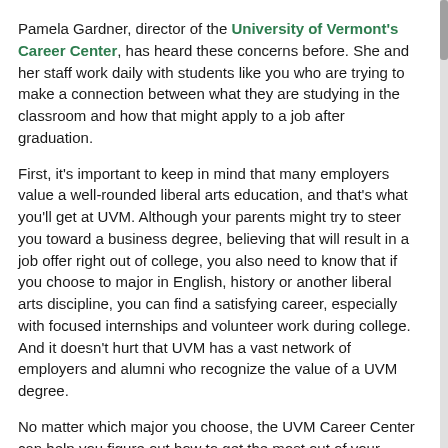Pamela Gardner, director of the University of Vermont's Career Center, has heard these concerns before. She and her staff work daily with students like you who are trying to make a connection between what they are studying in the classroom and how that might apply to a job after graduation.
First, it's important to keep in mind that many employers value a well-rounded liberal arts education, and that's what you'll get at UVM. Although your parents might try to steer you toward a business degree, believing that will result in a job offer right out of college, you also need to know that if you choose to major in English, history or another liberal arts discipline, you can find a satisfying career, especially with focused internships and volunteer work during college. And it doesn't hurt that UVM has a vast network of employers and alumni who recognize the value of a UVM degree.
No matter which major you choose, the UVM Career Center can help you figure out how to get the most out of your degree. You also might try taking a winter session career course offered through UVM Continuing and Distance Education. The courses cover majors from anthropology and computer science to areas of interest like public health, arts administration and the environment